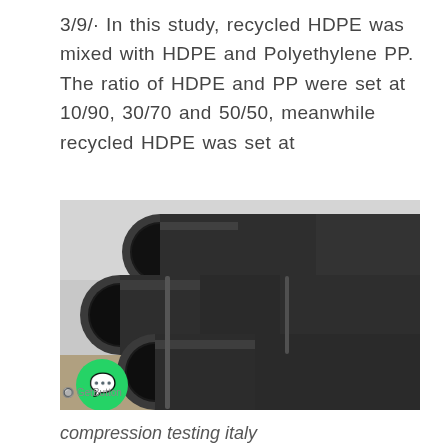3/9/· In this study, recycled HDPE was mixed with HDPE and Polyethylene PP. The ratio of HDPE and PP were set at 10/90, 30/70 and 50/50, meanwhile recycled HDPE was set at
[Figure (photo): Photograph of multiple large dark grey/black HDPE plastic pipes stacked in a pyramidal arrangement outdoors, with a WhatsApp contact button overlay in the lower left corner.]
GetButton
compression testing italy